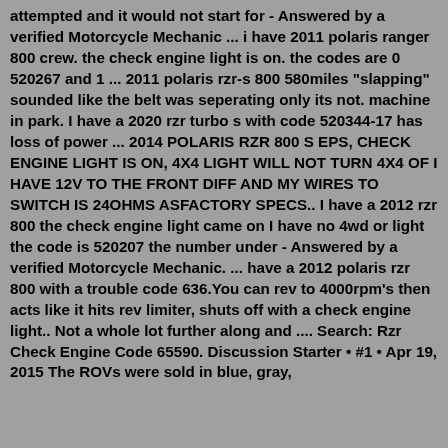attempted and it would not start for - Answered by a verified Motorcycle Mechanic ... i have 2011 polaris ranger 800 crew. the check engine light is on. the codes are 0 520267 and 1 ... 2011 polaris rzr-s 800 580miles "slapping" sounded like the belt was seperating only its not. machine in park. I have a 2020 rzr turbo s with code 520344-17 has loss of power ... 2014 POLARIS RZR 800 S EPS, CHECK ENGINE LIGHT IS ON, 4X4 LIGHT WILL NOT TURN 4X4 OF I HAVE 12V TO THE FRONT DIFF AND MY WIRES TO SWITCH IS 24OHMS ASFACTORY SPECS.. I have a 2012 rzr 800 the check engine light came on I have no 4wd or light the code is 520207 the number under - Answered by a verified Motorcycle Mechanic. ... have a 2012 polaris rzr 800 with a trouble code 636.You can rev to 4000rpm's then acts like it hits rev limiter, shuts off with a check engine light.. Not a whole lot further along and .... Search: Rzr Check Engine Code 65590. Discussion Starter • #1 • Apr 19, 2015 The ROVs were sold in blue, gray,